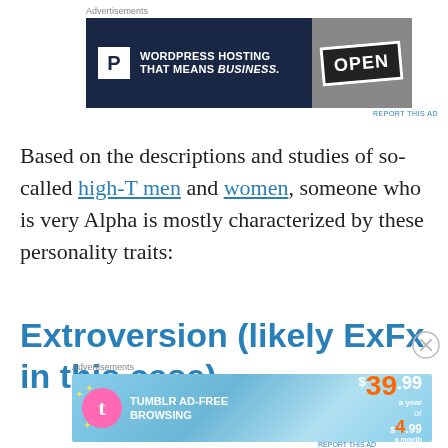[Figure (other): Advertisement banner: Pressable WordPress Hosting - 'WORDPRESS HOSTING THAT MEANS BUSINESS.' with OPEN sign photo]
Based on the descriptions and studies of so-called high-T men and women, someone who is very Alpha is mostly characterized by these personality traits:
Extroversion (likely ExFx in this case)
[Figure (other): Advertisement banner: Tumblr Ad-Free Browsing - $39.99 a year or $4.99 a month]